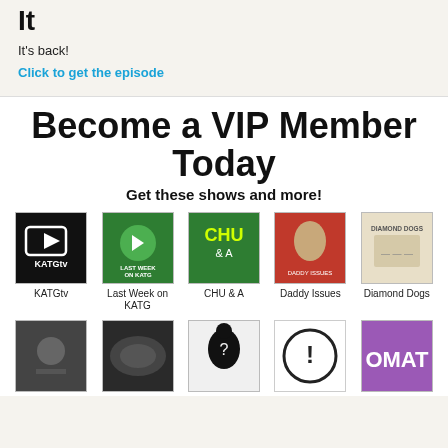It
It's back!
Click to get the episode
Become a VIP Member Today
Get these shows and more!
[Figure (illustration): Row of podcast/show thumbnail images: KATGtv, Last Week on KATG, CHU & A, Daddy Issues, Diamond Dogs]
[Figure (illustration): Row of podcast/show thumbnail images (second row, partial): 5 more show thumbnails including one purple OMAT tile]